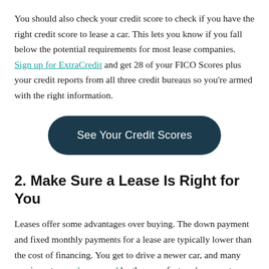You should also check your credit score to check if you have the right credit score to lease a car. This lets you know if you fall below the potential requirements for most lease companies. Sign up for ExtraCredit and get 28 of your FICO Scores plus your credit reports from all three credit bureaus so you're armed with the right information.
[Figure (other): Dark teal rounded button with white text reading 'See Your Credit Scores']
2. Make Sure a Lease Is Right for You
Leases offer some advantages over buying. The down payment and fixed monthly payments for a lease are typically lower than the cost of financing. You get to drive a newer car, and many repair costs may be covered by the manufacturer's warranty or the lease agreement.
However, leases also come with many limitations and the potential for